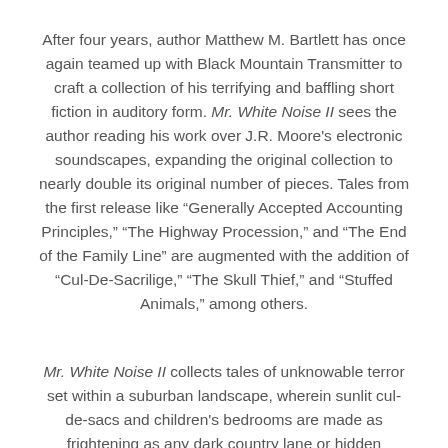After four years, author Matthew M. Bartlett has once again teamed up with Black Mountain Transmitter to craft a collection of his terrifying and baffling short fiction in auditory form. Mr. White Noise II sees the author reading his work over J.R. Moore's electronic soundscapes, expanding the original collection to nearly double its original number of pieces. Tales from the first release like “Generally Accepted Accounting Principles,” “The Highway Procession,” and “The End of the Family Line” are augmented with the addition of “Cul-De-Sacrilige,” “The Skull Thief,” and “Stuffed Animals,” among others.
Mr. White Noise II collects tales of unknowable terror set within a suburban landscape, wherein sunlit cul-de-sacs and children’s bedrooms are made as frightening as any dark country lane or hidden abattoir.